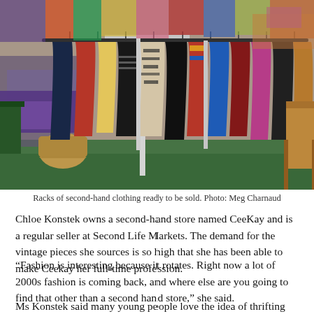[Figure (photo): Racks of second-hand clothing in a market setting. Colourful garments on hanging rails, wicker baskets on the floor, green carpet/grass ground, with tables of clothing in the background.]
Racks of second-hand clothing ready to be sold. Photo: Meg Charnaud
Chloe Konstek owns a second-hand store named CeeKay and is a regular seller at Second Life Markets. The demand for the vintage pieces she sources is so high that she has been able to make Ceekay her full-time profession.
“Fashion is interesting because it rotates. Right now a lot of 2000s fashion is coming back, and where else are you going to find that other than a second hand store,” she said.
Ms Konstek said many young people love the idea of thrifting